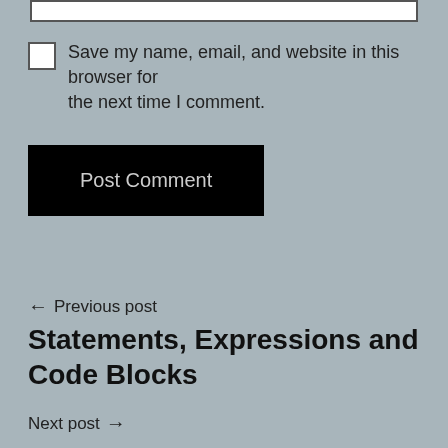[Figure (other): White input/text box at the top of the page]
Save my name, email, and website in this browser for the next time I comment.
[Figure (other): Black 'Post Comment' button]
← Previous post
Statements, Expressions and Code Blocks
Next post →